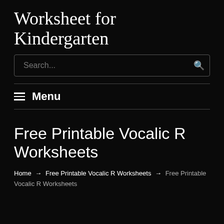Worksheet for Kindergarten
Menu
Free Printable Vocalic R Worksheets
Home → Free Printable Vocalic R Worksheets → Free Printable Vocalic R Worksheets